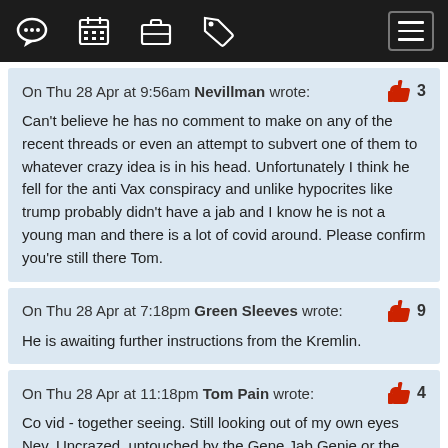Navigation bar with icons: chat, calendar, briefcase, tag, menu
On Thu 28 Apr at 9:56am Nevillman wrote:
Can't believe he has no comment to make on any of the recent threads or even an attempt to subvert one of them to whatever crazy idea is in his head. Unfortunately I think he fell for the anti Vax conspiracy and unlike hypocrites like trump probably didn't have a jab and I know he is not a young man and there is a lot of covid around. Please confirm you're still there Tom.
On Thu 28 Apr at 7:18pm Green Sleeves wrote:
He is awaiting further instructions from the Kremlin.
On Thu 28 Apr at 11:18pm Tom Pain wrote:
Co vid - together seeing. Still looking out of my own eyes Nev. Uncrazed, untouched by the Gene Jab Genie or the Gremlin. Saw some goldfinches the other day, digging the garden.